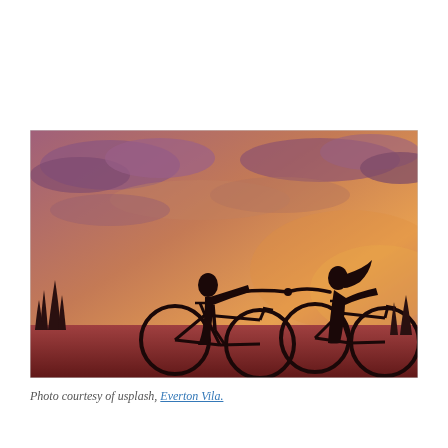[Figure (photo): Two people riding bicycles silhouetted against a dramatic sunset sky with purple and orange clouds, reaching out and holding hands while cycling.]
Photo courtesy of usplash, Everton Vila.